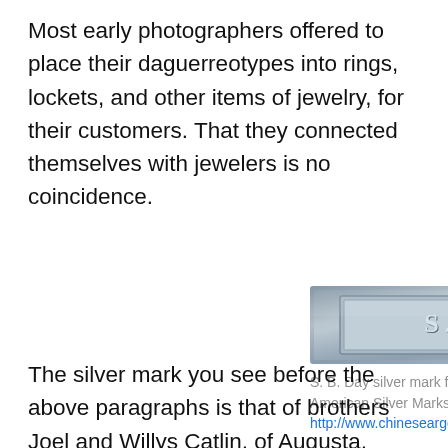Most early photographers offered to place their daguerreotypes into rings, lockets, and other items of jewelry, for their customers. That they connected themselves with jewelers is no coincidence.
[Figure (photo): Close-up photograph of a silver maker's mark stamp reading 'S.B. DAY' engraved in a rectangular silver cartouche.]
S. B. Day silver mark from American Silversmiths Directory, American Silver Marks Index, maker D pg.1; http://www.chineseargent.com/home/maker-d-1
The silver mark you see before the above paragraphs is that of brothers Joel and Willys Catlin, of Augusta, working as J & W Catlin from 1822-1832. Jeweler, silversmith,